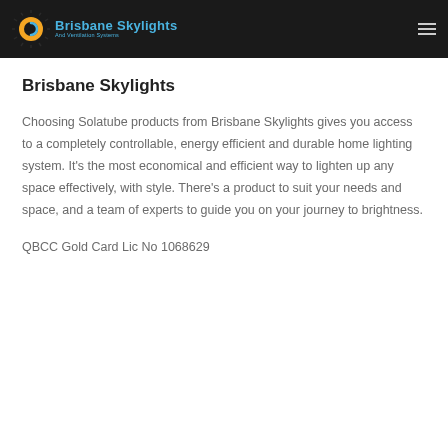[Figure (logo): Brisbane Skylights logo with sun icon and tagline 'And Ventilation Systems' on dark header bar]
Brisbane Skylights
Choosing Solatube products from Brisbane Skylights gives you access to a completely controllable, energy efficient and durable home lighting system. It's the most economical and efficient way to lighten up any space effectively, with style. There's a product to suit your needs and space, and a team of experts to guide you on your journey to brightness.
QBCC Gold Card Lic No 1068629